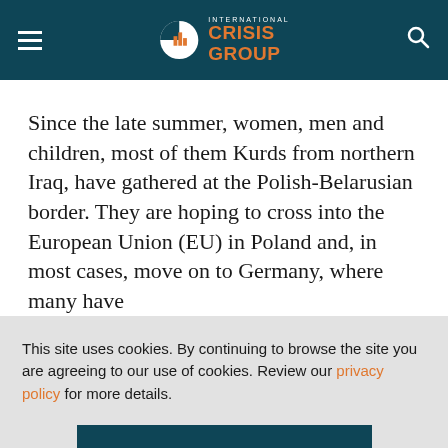International Crisis Group
Since the late summer, women, men and children, most of them Kurds from northern Iraq, have gathered at the Polish-Belarusian border. They are hoping to cross into the European Union (EU) in Poland and, in most cases, move on to Germany, where many have
This site uses cookies. By continuing to browse the site you are agreeing to our use of cookies. Review our privacy policy for more details.
YES, I AGREE